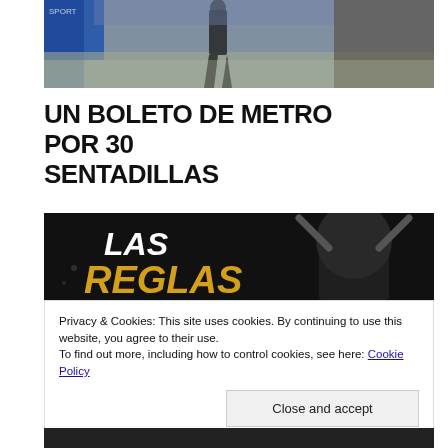[Figure (photo): Indoor scene with people on a shiny floor, blue banners in background, someone walking]
UN BOLETO DE METRO POR 30 SENTADILLAS
[Figure (photo): Black and white banner image with text LAS REGLAS in white and gold, person with arms raised in background]
Privacy & Cookies: This site uses cookies. By continuing to use this website, you agree to their use.
To find out more, including how to control cookies, see here: Cookie Policy
Close and accept